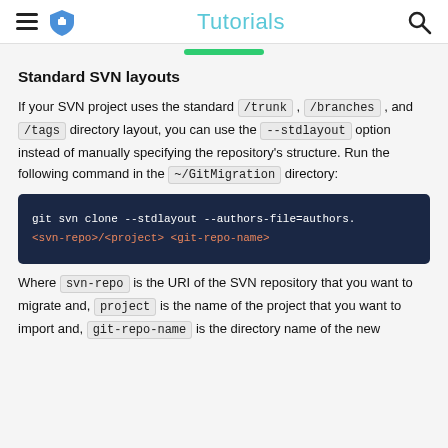Tutorials
Standard SVN layouts
If your SVN project uses the standard /trunk , /branches , and /tags directory layout, you can use the --stdlayout option instead of manually specifying the repository's structure. Run the following command in the ~/GitMigration directory:
[Figure (screenshot): Code block showing: git svn clone --stdlayout --authors-file=authors. <svn-repo>/<project> <git-repo-name>]
Where svn-repo is the URI of the SVN repository that you want to migrate and, project is the name of the project that you want to import and, git-repo-name is the directory name of the new